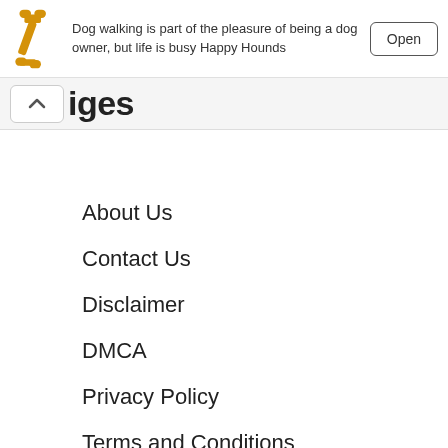Dog walking is part of the pleasure of being a dog owner, but life is busy Happy Hounds
Open
iges
About Us
Contact Us
Disclaimer
DMCA
Privacy Policy
Terms and Conditions